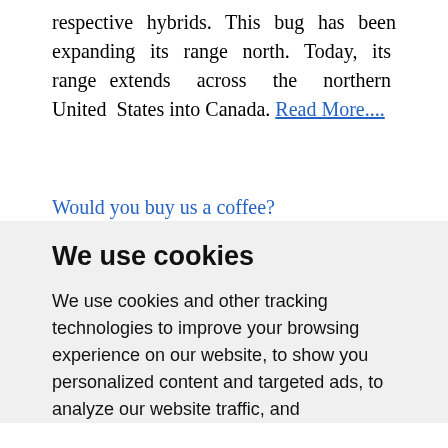respective hybrids. This bug has been expanding its range north. Today, its range extends across the northern United States into Canada. Read More....
Would you buy us a coffee?
We use cookies
We use cookies and other tracking technologies to improve your browsing experience on our website, to show you personalized content and targeted ads, to analyze our website traffic, and